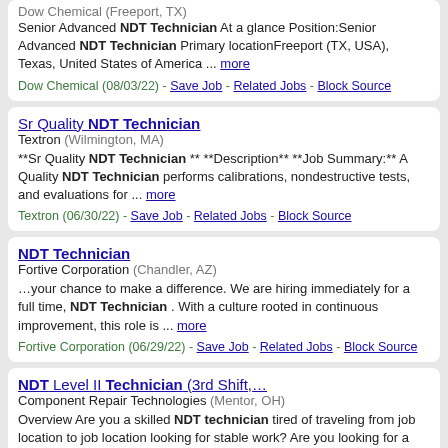Dow Chemical (Freeport, TX) Senior Advanced NDT Technician At a glance Position:Senior Advanced NDT Technician Primary locationFreeport (TX, USA), Texas, United States of America ... more
Dow Chemical (08/03/22) - Save Job - Related Jobs - Block Source
Sr Quality NDT Technician
Textron (Wilmington, MA)
**Sr Quality NDT Technician ** **Description** **Job Summary:** A Quality NDT Technician performs calibrations, nondestructive tests, and evaluations for ... more
Textron (06/30/22) - Save Job - Related Jobs - Block Source
NDT Technician
Fortive Corporation (Chandler, AZ)
…your chance to make a difference. We are hiring immediately for a full time, NDT Technician . With a culture rooted in continuous improvement, this role is ... more
Fortive Corporation (06/29/22) - Save Job - Related Jobs - Block Source
NDT Level II Technician (3rd Shift,…
Component Repair Technologies (Mentor, OH)
Overview Are you a skilled NDT technician tired of traveling from job location to job location looking for stable work? Are you looking for a challenging or ...